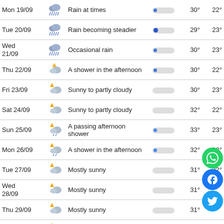| Date | Icon | Description | Bar | High | Low |
| --- | --- | --- | --- | --- | --- |
| Mon 19/09 | rain | Rain at times | low | 30° | 22° |
| Tue 20/09 | rain | Rain becoming steadier | high | 29° | 23° |
| Wed 21/09 | rain | Occasional rain | low | 30° | 23° |
| Thu 22/09 | shower-pm | A shower in the afternoon | low | 30° | 22° |
| Fri 23/09 | sunny-cloudy | Sunny to partly cloudy | none | 30° | 23° |
| Sat 24/09 | sunny-cloudy | Sunny to partly cloudy | none | 32° | 22° |
| Sun 25/09 | sunny-shower | A passing afternoon shower | low | 33° | 23° |
| Mon 26/09 | sunny-shower | A shower in the afternoon | low | 32° | 22° |
| Tue 27/09 | sunny-cloudy | Mostly sunny | none | 31° | 22° |
| Wed 28/09 | sunny-cloudy | Mostly sunny | none | 31° |  |
| Thu 29/09 | sunny-cloudy | Mostly sunny | none | 31° |  |
| Fri 30/09 | sunny-cloudy | Sunshine and patchy clouds | none | 31° |  |
| Sat 01/10 | shower-pm | More sunshine than clouds | none | 31° | 21° |